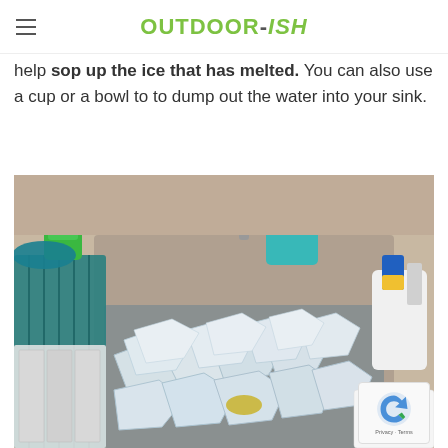OUTDOOR-ISH
help sop up the ice that has melted. You can also use a cup or a bowl to to dump out the water into your sink.
[Figure (photo): A kitchen sink filled with large chunks of melting ice, surrounded by dish soap bottles, a dish rack, sponge holder, and various kitchen items. The sink is stainless steel. Green liquid soap bottle is visible, along with a blue dish rack and white utensil holder.]